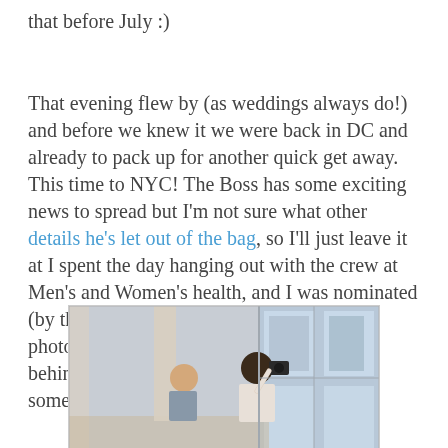that before July :)
That evening flew by (as weddings always do!) and before we knew it we were back in DC and already to pack up for another quick get away. This time to NYC! The Boss has some exciting news to spread but I'm not sure what other details he's let out of the bag, so I'll just leave it at I spent the day hanging out with the crew at Men's and Women's health, and I was nominated (by the Boss of course) to be his personal photographer… you know the photographer behind the real photographer! You know… someone has to do it!
[Figure (photo): Indoor office/studio scene with a photographer taking a photo of a subject sitting near large windows with city buildings visible outside. A person in a white shirt is seen from behind holding a camera, while another person sits across from them.]